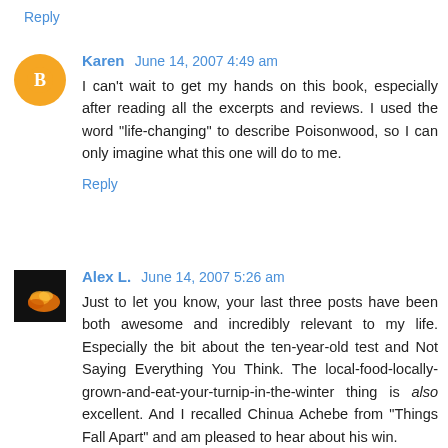Reply
Karen  June 14, 2007 4:49 am
I can't wait to get my hands on this book, especially after reading all the excerpts and reviews. I used the word "life-changing" to describe Poisonwood, so I can only imagine what this one will do to me.
Reply
Alex L.  June 14, 2007 5:26 am
Just to let you know, your last three posts have been both awesome and incredibly relevant to my life. Especially the bit about the ten-year-old test and Not Saying Everything You Think. The local-food-locally-grown-and-eat-your-turnip-in-the-winter thing is also excellent. And I recalled Chinua Achebe from "Things Fall Apart" and am pleased to hear about his win.

Your blog is a pleasure to read. Thanks for writing.